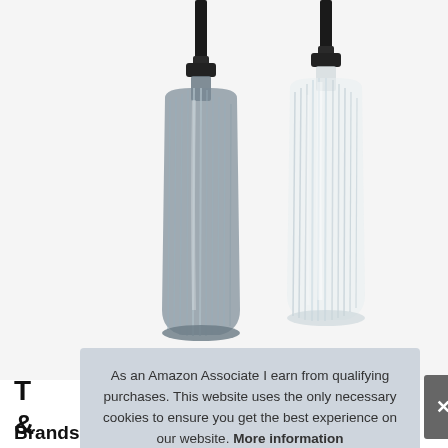[Figure (photo): Two ribbed glass soap dispenser bottles side by side — one dark grey/smoke colored on the left, one clear/transparent on the right. Both have shiny black/chrome pump tops. The bottles have a vertical ribbed/fluted texture and rounded rectangular shape.]
T
&
As an Amazon Associate I earn from qualifying purchases. This website uses the only necessary cookies to ensure you get the best experience on our website. More information
Brands